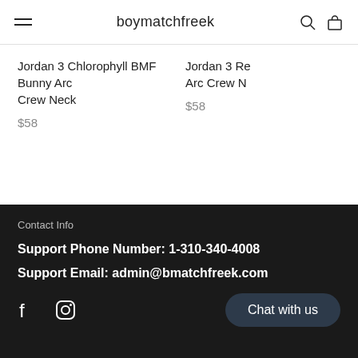boymatchfreek
Jordan 3 Chlorophyll BMF Bunny Arc Crew Neck
$58
Jordan 3 Re Arc Crew N
$58
Contact Info
Support Phone Number: 1-310-340-4008
Support Email: admin@bmatchfreek.com
Chat with us